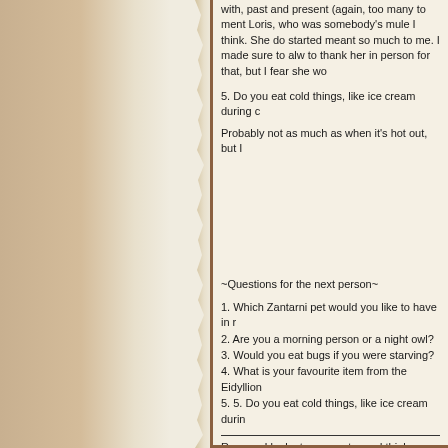with, past and present (again, too many to ment Loris, who was somebody's mule I think. She do started meant so much to me. I made sure to al to thank her in person for that, but I fear she wo
5. Do you eat cold things, like ice cream during c
Probably not as much as when it's hot out, but I
~Questions for the next person~
1. Which Zantarni pet would you like to have in r
2. Are you a morning person or a night owl?
3. Would you eat bugs if you were starving?
4. What is your favourite item from the Eidyllion
5. 5. Do you eat cold things, like ice cream durin
Rayven, I look at your avatar and think "Queen S